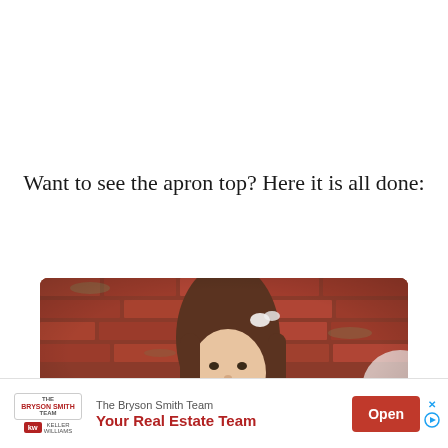Want to see the apron top? Here it is all done:
[Figure (photo): A young girl with long brown hair and a white hair clip, standing in front of a red brick wall, looking upward and smiling slightly.]
[Figure (infographic): Advertisement banner: The Bryson Smith Team - Your Real Estate Team, with KW Keller Williams logo, and an Open button.]